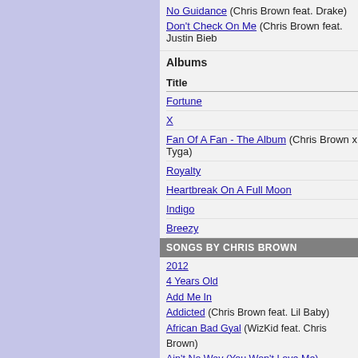No Guidance (Chris Brown feat. Drake)
Don't Check On Me (Chris Brown feat. Justin Bieb…)
Albums
| Title |
| --- |
| Fortune |
| X |
| Fan Of A Fan - The Album (Chris Brown x Tyga) |
| Royalty |
| Heartbreak On A Full Moon |
| Indigo |
| Breezy |
SONGS BY CHRIS BROWN
2012
4 Years Old
Add Me In
Addicted (Chris Brown feat. Lil Baby)
African Bad Gyal (WizKid feat. Chris Brown)
Ain't No Way (You Won't Love Me)
Ain't Thinkin' 'Bout You (Bow Wow feat. Chris Bro…)
Algo me gusta de ti (Wisin y Yandel feat. Chris Br… T-Pain)
All About You
All Back
All Eyes On You (Meek Mill / Nicki Minaj / Chris B…)
All I Want (Chris Brown feat. Tyga)
All On Me
Already Best Friends (Jack Harlow feat. Chris Bro…)
Animal (Chris Brown & Young Thug)
Another Round (Fat Joe feat. Chris Brown)